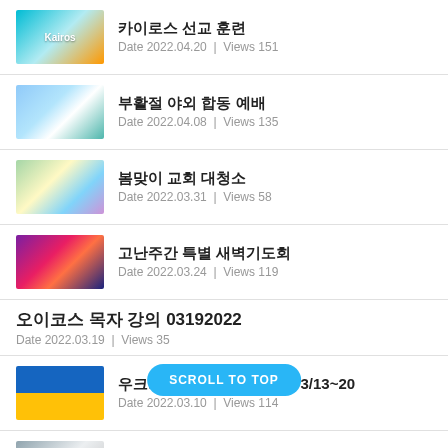카이로스 선교 훈련
Date 2022.04.20 | Views 151
부활절 야외 합동 예배
Date 2022.04.08 | Views 135
봄맞이 교회 대청소
Date 2022.03.31 | Views 58
고난주간 특별 새벽기도회
Date 2022.03.24 | Views 119
오이코스 목자 강의 03192022
Date 2022.03.19 | Views 35
우크라이나 특별헌금 모금: 3/13~20
Date 2022.03.10 | Views 114
봄학기 온라인 성경대학
Date 2022.03.03 | Views 134
오이코스 인도자 모임 중 - 미셔널 처치 강의 2